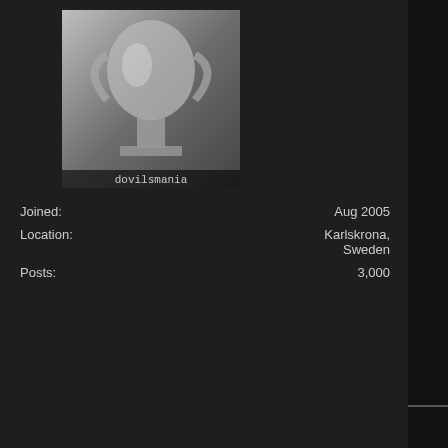[Figure (photo): Trophy/cup image avatar for user dovilsmania]
Joined: Aug 2005
Location: Karlskrona, Sweden
Posts: 3,000
1st May 2008, 10:11
Gurre ONLINE OFFLINE
Senior Member
[Figure (photo): Trophy/cup image avatar for user dovilsmania (second post)]
Joined: Aug 2005
Location: Karlskrona, Sweden
Originally Posted by Haroon
Plus Utd. won't win 3 UCL finals out of...
Well, Real Madrid won five out of five in the 50...
Ajax won three straight in the 70's.
Liverpool won three straight in the late 70's an...